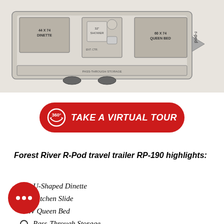[Figure (schematic): Floor plan of Forest River R-Pod travel trailer RP-190 showing U-shaped dinette (44x74), queen bed (60x74), bathroom with 32" shower, and kitchen slide area. The trailer shape is shown from above with room labels.]
[Figure (other): Red pill-shaped button with 360-degree virtual tour icon and text 'TAKE A VIRTUAL TOUR' in white italic bold text]
Forest River R-Pod travel trailer RP-190 highlights:
U-Shaped Dinette
Kitchen Slide
RV Queen Bed
Pass-Through Storage
Front Windshield